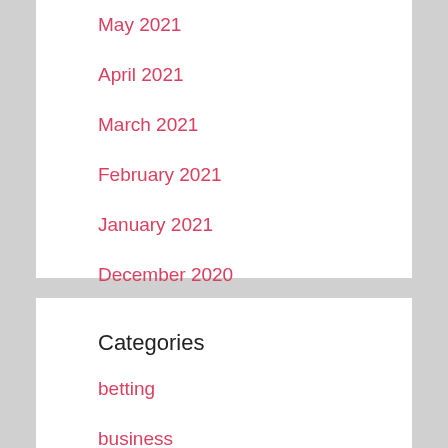May 2021
April 2021
March 2021
February 2021
January 2021
December 2020
Categories
betting
business
casino
Education